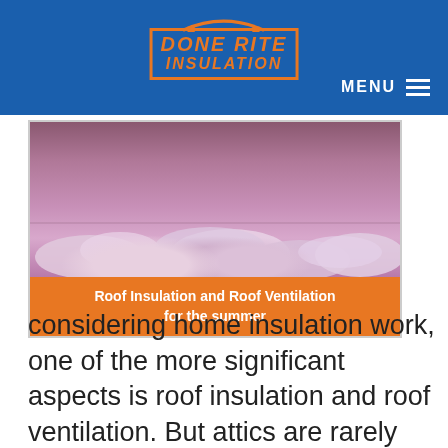DONE RITE INSULATION
[Figure (photo): Close-up photo of pink/lavender fibreglass insulation material filling an attic space, with an orange caption bar reading 'Roof Insulation and Roof Ventilation for the summer']
Roof Insulation and Roof Ventilation for the summer
considering home insulation work, one of the more significant aspects is roof insulation and roof ventilation. But attics are rarely seen by the homeowners and you probably do not use yours regularly either. Therefore it is easy to lose sight of the condition of the roof. You mustn't